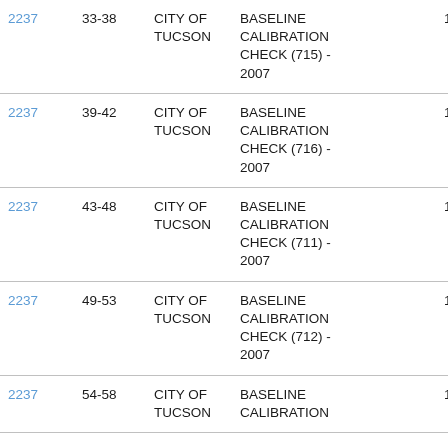| ID | Range | City | Description | Code |
| --- | --- | --- | --- | --- |
| 2237 | 33-38 | CITY OF TUCSON | BASELINE CALIBRATION CHECK (715) - 2007 | 14S |
| 2237 | 39-42 | CITY OF TUCSON | BASELINE CALIBRATION CHECK (716) - 2007 | 14S |
| 2237 | 43-48 | CITY OF TUCSON | BASELINE CALIBRATION CHECK (711) - 2007 | 14S |
| 2237 | 49-53 | CITY OF TUCSON | BASELINE CALIBRATION CHECK (712) - 2007 | 14S |
| 2237 | 54-58 | CITY OF TUCSON | BASELINE CALIBRATION | 14S |